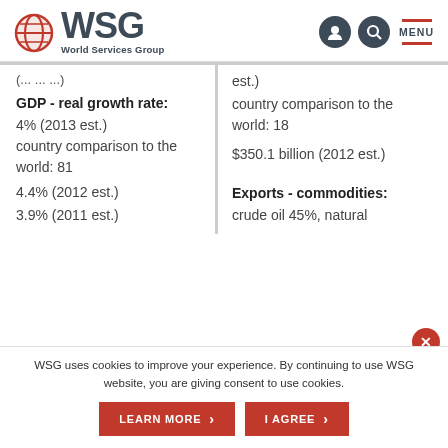WSG World Services Group
est.)
country comparison to the world: 18
GDP - real growth rate:
4% (2013 est.)
country comparison to the world: 81
4.4% (2012 est.)
3.9% (2011 est.)
$350.1 billion (2012 est.)
Exports - commodities:
crude oil 45%, natural
WSG uses cookies to improve your experience. By continuing to use WSG website, you are giving consent to use cookies.